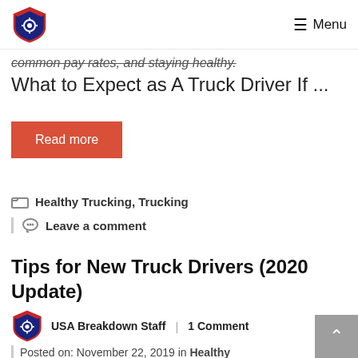Menu
common pay rates, and staying healthy.
What to Expect as A Truck Driver If ...
Read more
Healthy Trucking, Trucking
Leave a comment
Tips for New Truck Drivers (2020 Update)
USA Breakdown Staff | 1 Comment
Posted on: November 22, 2019 in Healthy Trucking, Trucking